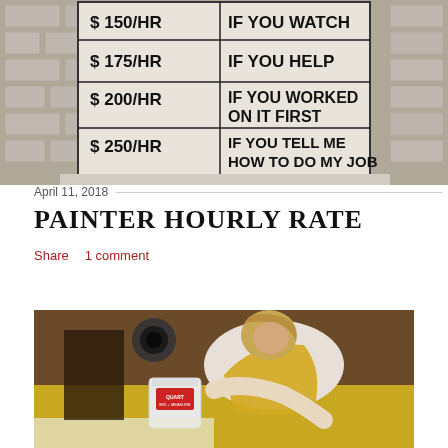[Figure (photo): A humorous pricing sign for a painter/repairman showing hourly rates: $150/HR if you watch, $175/HR if you help, $200/HR if you worked on it first, $250/HR if you tell me how to do my job. Sign is displayed on a brick wall background.]
April 11, 2018
PAINTER HOURLY RATE
Share   1 comment
[Figure (photo): A woman in a white long-sleeve shirt and yellow apron leaning over a surface, painting or working on a project. A white paint bucket is visible in the foreground.]